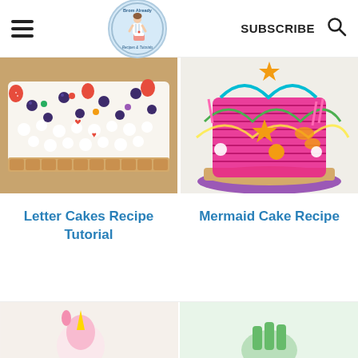Brom Already | SUBSCRIBE
[Figure (photo): Letter cake decorated with whipped cream, blueberries, strawberries, and colorful candies on a wooden board]
[Figure (photo): Colorful mermaid-themed tiered cake with pink textured frosting, orange starfish, tassels, and tropical decorations on a purple board]
Letter Cakes Recipe Tutorial
Mermaid Cake Recipe
[Figure (photo): Partial view of a cake at bottom left (unicorn-themed, partially cropped)]
[Figure (photo): Partial view of a cake at bottom right (partially cropped)]